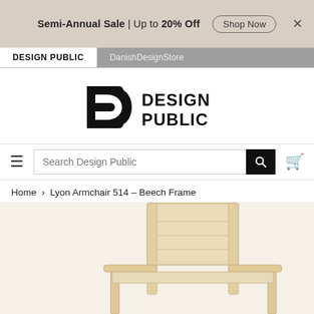Semi-Annual Sale | Up to 20% Off  Shop Now  ×
DESIGN PUBLIC  DanishDesignStore
[Figure (logo): Design Public logo — stylized letter D and text DESIGN PUBLIC in bold black.]
Search Design Public
Home › Lyon Armchair 514 – Beech Frame
[Figure (photo): Lyon Armchair 514 with beech wood frame, light natural wood color, upholstered seat, shown partially from above on a warm beige background.]